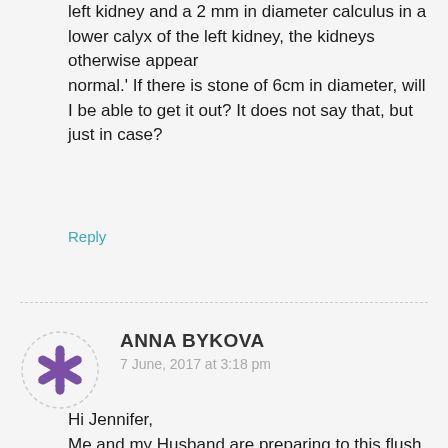left kidney and a 2 mm in diameter calculus in a lower calyx of the left kidney, the kidneys otherwise appear normal.' If there is stone of 6cm in diameter, will I be able to get it out? It does not say that, but just in case?
Reply
ANNA BYKOVA
7 June, 2017 at 3:18 pm
Hi Jennifer,
Me and my Husband are preparing to this flush this week for first time. You said that after 2 pm no food or drink. Can you drink water? Or stop water at 2 and till next day?